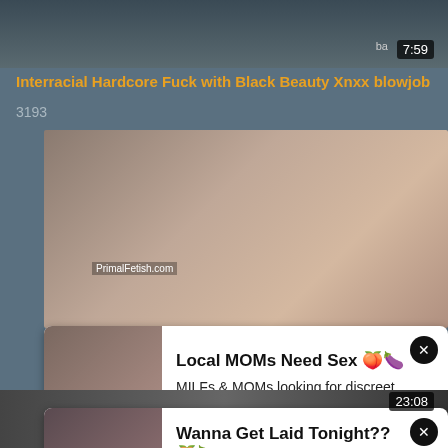[Figure (screenshot): Video thumbnail top portion showing dark bedroom scene with duration badge 7:59 and ba logo]
Interracial Hardcore Fuck with Black Beauty Xnxx blowjob
3193
[Figure (screenshot): Video thumbnail from PrimalFetish.com showing adult content]
[Figure (screenshot): Ad overlay 1: Local MOMs Need Sex. MILFs & MOMs looking for discreet Sex 30+]
23:08
[Figure (screenshot): Ad overlay 2: Wanna Get Laid Tonight?? Text a Horny Girls & Fuck for FREE]
[Figure (screenshot): Bottom video thumbnails strip]